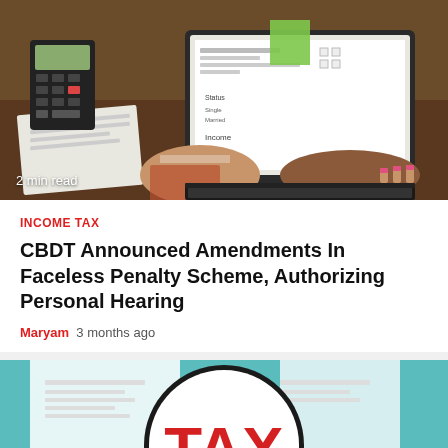[Figure (photo): Photo of two people working at a laptop with a tax form on screen, a calculator and papers visible on the desk. One person wearing a plaid shirt holding a document, another with pink nails typing.]
2 min read
INCOME TAX
CBDT Announced Amendments In Faceless Penalty Scheme, Authorizing Personal Hearing
Maryam  3 months ago
[Figure (illustration): Illustration of a magnifying glass over a white paper showing the word TAX in large red letters, on a teal background with receipt-like document shape.]